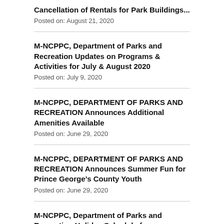Cancellation of Rentals for Park Buildings...
Posted on: August 21, 2020
M-NCPPC, Department of Parks and Recreation Updates on Programs & Activities for July & August 2020
Posted on: July 9, 2020
M-NCPPC, DEPARTMENT OF PARKS AND RECREATION Announces Additional Amenities Available
Posted on: June 29, 2020
M-NCPPC, DEPARTMENT OF PARKS AND RECREATION Announces Summer Fun for Prince George's County Youth
Posted on: June 29, 2020
M-NCPPC, Department of Parks and Recreation Holiday Schedule for Independence Day 2020
Posted on: June 29, 2020
M-NCPPC and Bowie State University Create Play More TV